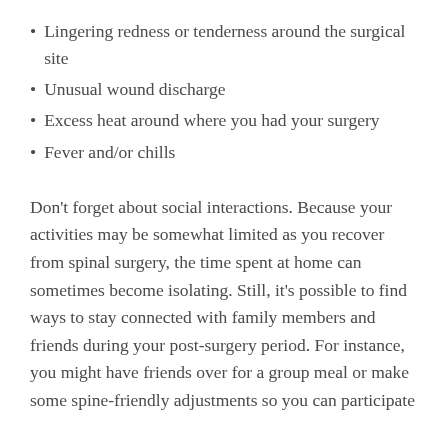Lingering redness or tenderness around the surgical site
Unusual wound discharge
Excess heat around where you had your surgery
Fever and/or chills
Don't forget about social interactions. Because your activities may be somewhat limited as you recover from spinal surgery, the time spent at home can sometimes become isolating. Still, it's possible to find ways to stay connected with family members and friends during your post-surgery period. For instance, you might have friends over for a group meal or make some spine-friendly adjustments so you can participate